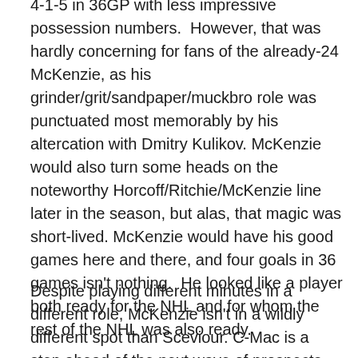4-1-5 in 36GP with less impressive possession numbers.  However, that was hardly concerning for fans of the already-24 McKenzie, as his grinder/grit/sandpaper/muckbro role was punctuated most memorably by his altercation with Dmitry Kulikov. McKenzie would also turn some heads on the noteworthy Horcoff/Ritchie/McKenzie line later in the season, but alas, that magic was short-lived. McKenzie would have his good games here and there, and four goals in 36 games isn't nothing.  He looked like a player both ready for the NHL and for whom the rest of the NHL was also ready.
Despite playing different minutes in a different role, McKenzie isn't in a wildly different spot than Sceviour. C-Mac is a step ahead of the next wave of prospects, and while Brett Ritchie's unfortunate wrist injury seems